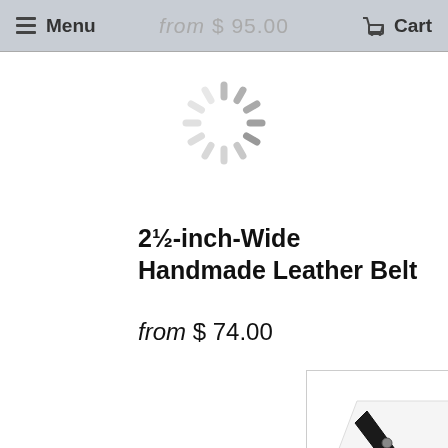Menu   from $ 95.00   Cart
[Figure (other): Loading spinner animation (circular dashed spinner indicator)]
2½-inch-Wide Handmade Leather Belt
from $ 74.00
[Figure (photo): Photo of a black leather belt harness with metal O-ring center and rivets, displayed against white background]